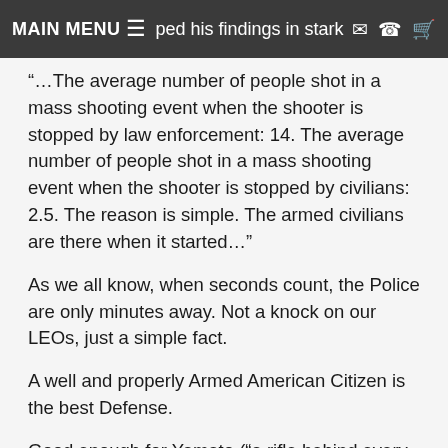MAIN MENU ≡  ...ped his findings in stark manner... ✉ 📞 🛒
“…The average number of people shot in a mass shooting event when the shooter is stopped by law enforcement: 14. The average number of people shot in a mass shooting event when the shooter is stopped by civilians: 2.5. The reason is simple. The armed civilians are there when it started…”
As we all know, when seconds count, the Police are only minutes away. Not a knock on our LEOs, just a simple fact.
A well and properly Armed American Citizen is the best Defense.
Good enough for Yamato (“a rifle behind every blade of grass”)… and demonstrably proven to save lives against any nutjob looking to shine up his satanic resume at the